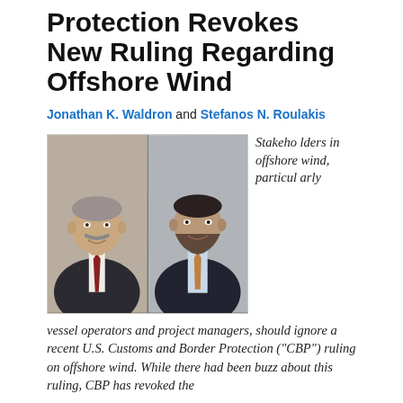Protection Revokes New Ruling Regarding Offshore Wind
Jonathan K. Waldron and Stefanos N. Roulakis
[Figure (photo): Headshots of two attorneys side by side: Jonathan K. Waldron (left, older man with mustache in dark suit and tie) and Stefanos N. Roulakis (right, younger man with beard in dark suit and tie)]
Stakeholders in offshore wind, particularly vessel operators and project managers, should ignore a recent U.S. Customs and Border Protection ("CBP") ruling on offshore wind. While there had been buzz about this ruling, CBP has revoked the